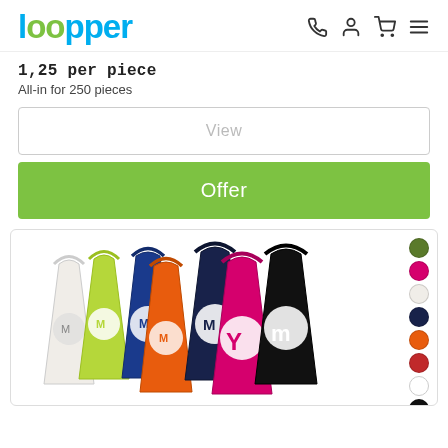Loopper navigation bar with logo and icons
1,25 per piece
All-in for 250 pieces
View
Offer
[Figure (photo): Multiple colorful tote bags with logos arranged in a fan display. Color swatches (olive, pink/magenta, cream, navy, orange, red, white, black) displayed on the right side.]